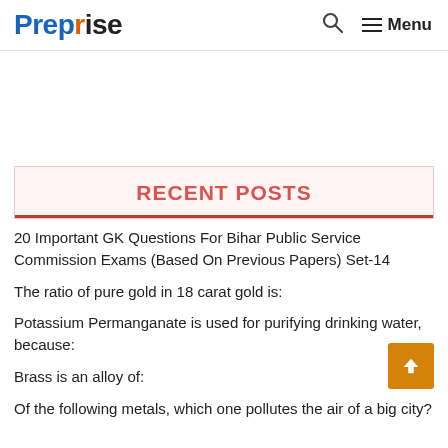Preprise — Search Menu
RECENT POSTS
20 Important GK Questions For Bihar Public Service Commission Exams (Based On Previous Papers) Set-14
The ratio of pure gold in 18 carat gold is:
Potassium Permanganate is used for purifying drinking water, because:
Brass is an alloy of:
Of the following metals, which one pollutes the air of a big city?